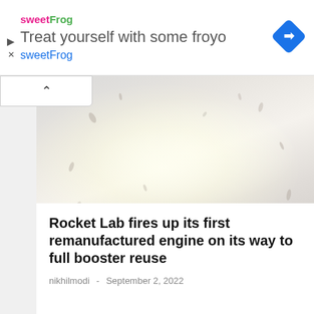[Figure (screenshot): sweetFrog frozen yogurt advertisement banner with logo, 'Treat yourself with some froyo' headline, sweetFrog subtitle, navigation icon diamond shape, play and close buttons]
[Figure (photo): Rocket engine firing test photo showing bright white flame/exhaust plume against a pale background with debris/particles]
Rocket Lab fires up its first remanufactured engine on its way to full booster reuse
nikhilmodi  -  September 2, 2022